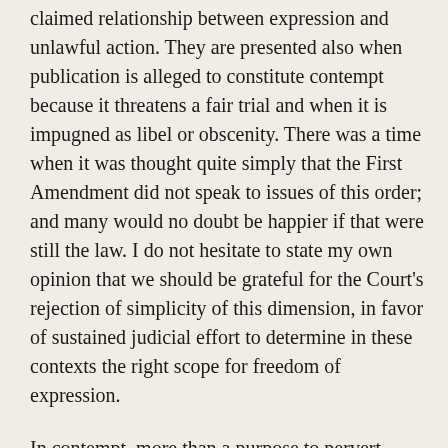claimed relationship between expression and unlawful action. They are presented also when publication is alleged to constitute contempt because it threatens a fair trial and when it is impugned as libel or obscenity. There was a time when it was thought quite simply that the First Amendment did not speak to issues of this order; and many would no doubt be happier if that were still the law. I do not hesitate to state my own opinion that we should be grateful for the Court's rejection of simplicity of this dimension, in favor of sustained judicial effort to determine in these contexts the right scope for freedom of expression.
In contempt, more than a purpose to pervert judicial action is demanded. The capacity of courts to ignore press denunciation has been thought to call for an especial showing that the publication raises a clear danger of perversion of the course of justice. In jury cases, such a